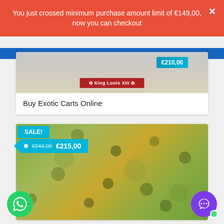You just crossed minimum purchase amount limit of €149,00, now you can checkout
[Figure (photo): Product image showing cannabis cartridge with King Louis XIII label and price overlay €210,00]
Buy Exotic Carts Online
SALE!
€243,00  €215,00
[Figure (photo): Close-up photo of dense cannabis flower buds with green and golden coloration]